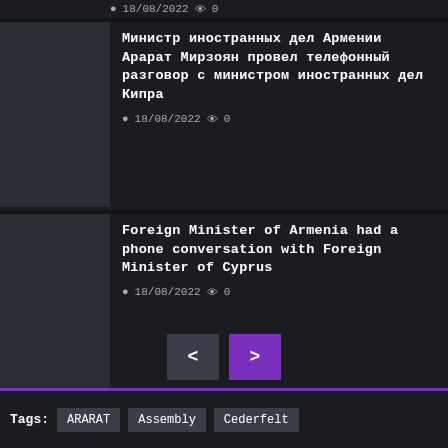18/08/2022  0
Министр иностранных дел Армении Арарат Мирзоян провел телефонный разговор с министром иностранных дел Кипра
18/08/2022  0
Foreign Minister of Armenia had a phone conversation with Foreign Minister of Cyprus
18/08/2022  0
Laron Minasjanhn Doni Rustomum << glhawrr hjuapatos nzanakelu Verabernjal
17/08/2022  0
< >
Tags:  ARARAT  Assembly  Cederfelt